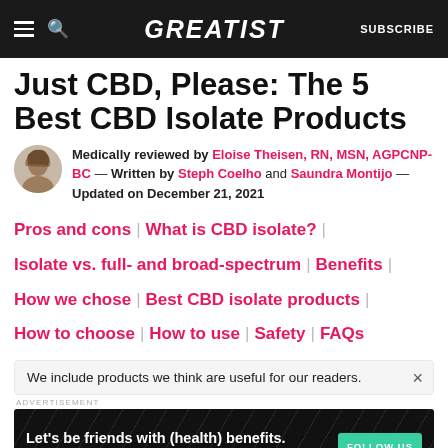GREATIST | SUBSCRIBE
Just CBD, Please: The 5 Best CBD Isolate Products
Medically reviewed by Eloise Theisen, RN, MSN, AGPCNP-BC — Written by Steph Coelho and Saundra Montijo — Updated on December 21, 2021
Pros and cons | What is CBD isolate? | Isolate vs. full- and broad-spectrum | Benefits | How we chose | Best CBD isolate products | How to choose | How to use | Safety | FAQs
We include products we think are useful for our readers.
[Figure (other): Advertisement banner: Let's be friends with (health) benefits. Follow GREATIST on Instagram. FOLLOW US button.]